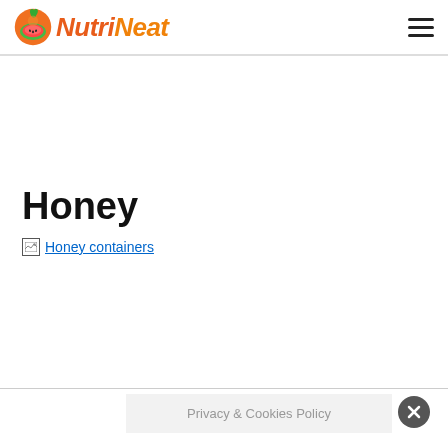NutriNeat
Honey
[Figure (photo): Broken image placeholder for 'Honey containers' with link text]
Privacy & Cookies Policy